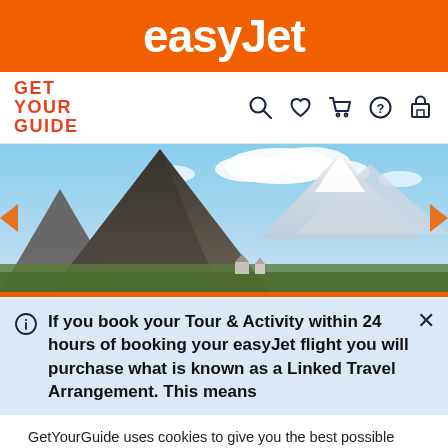easyJet
[Figure (logo): GetYourGuide logo in red with navigation icons: search, heart/wishlist, shopping cart, help/question mark, account/building]
[Figure (photo): Panoramic photo of an Icelandic mountain landscape with a dark volcanic peak, snow-capped mountains in background, blue sky with scattered clouds, and green valley with small buildings below]
If you book your Tour & Activity within 24 hours of booking your easyJet flight you will purchase what is known as a Linked Travel Arrangement. This means
GetYourGuide uses cookies to give you the best possible service. If you continue browsing, you agree to the use of cookies. More details can be found in our privacy policy.